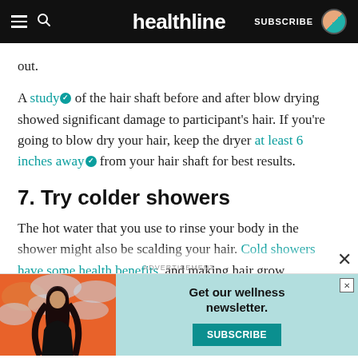healthline — SUBSCRIBE
out.
A study of the hair shaft before and after blow drying showed significant damage to participant's hair. If you're going to blow dry your hair, keep the dryer at least 6 inches away from your hair shaft for best results.
7. Try colder showers
The hot water that you use to rinse your body in the shower might also be scalding your hair. Cold showers have some health benefits, and making hair grow
ADVERTISEMENT
[Figure (illustration): Advertisement banner with wellness newsletter promotion showing an illustrated woman with dark hair against an orange/red cloud background, with teal subscribe button]